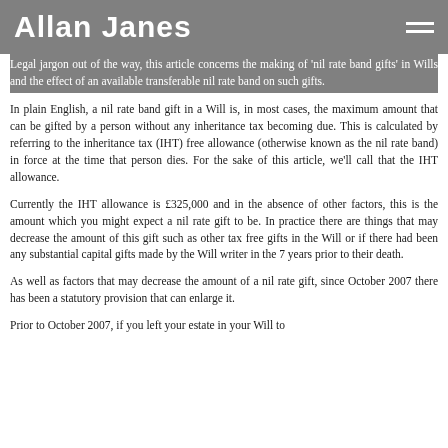Allan Janes
Legal jargon out of the way, this article concerns the making of 'nil rate band gifts' in Wills and the effect of an available transferable nil rate band on such gifts.
In plain English, a nil rate band gift in a Will is, in most cases, the maximum amount that can be gifted by a person without any inheritance tax becoming due. This is calculated by referring to the inheritance tax (IHT) free allowance (otherwise known as the nil rate band) in force at the time that person dies. For the sake of this article, we'll call that the IHT allowance.
Currently the IHT allowance is £325,000 and in the absence of other factors, this is the amount which you might expect a nil rate gift to be. In practice there are things that may decrease the amount of this gift such as other tax free gifts in the Will or if there had been any substantial capital gifts made by the Will writer in the 7 years prior to their death.
As well as factors that may decrease the amount of a nil rate gift, since October 2007 there has been a statutory provision that can enlarge it.
Prior to October 2007, if you left your estate in your Will to